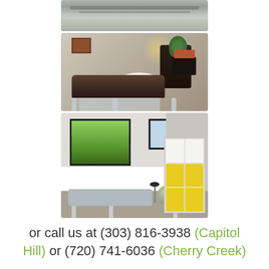[Figure (photo): Top partial photo of a therapy room or hallway with gray/green floor and ceiling equipment visible]
[Figure (photo): Physical therapy treatment room with a dark brown adjustable treatment table, white pillow, a plant on a black stand, and warm ambient lighting]
[Figure (photo): Physical therapy gym room with two windows showing trees outside, a treatment table, exercise ball, a stool, and yellow storage cubbies on the right]
or call us at (303) 816-3938 (Capitol Hill) or (720) 741-6036 (Cherry Creek)